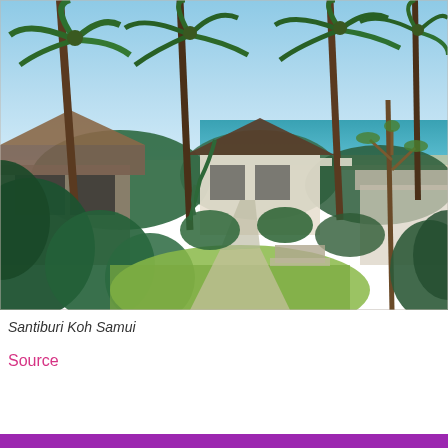[Figure (photo): Outdoor photo of Santiburi Koh Samui resort grounds showing tropical garden with tall palm trees, lush green foliage, white villa buildings with pitched roofs, manicured lawn, stone pathway, and ocean/sea visible in the background under a blue sky.]
Santiburi Koh Samui
Source